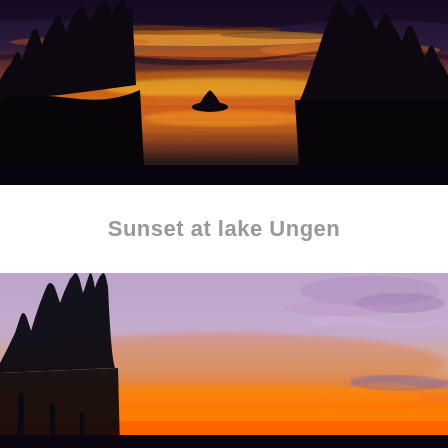[Figure (photo): Panoramic sunset photograph over a calm lake. Dramatic orange and golden sky with dark cloud streaks reflected in still water. Silhouetted pine trees line both shores. Small island visible in the water.]
Sunset at lake Ungen
[Figure (photo): Panoramic sunset photograph from an elevated viewpoint. Bright vivid orange glow near the horizon beneath a soft lavender-pink sky. Silhouetted pine trees visible on left side. Purple-tinged clouds on right.]